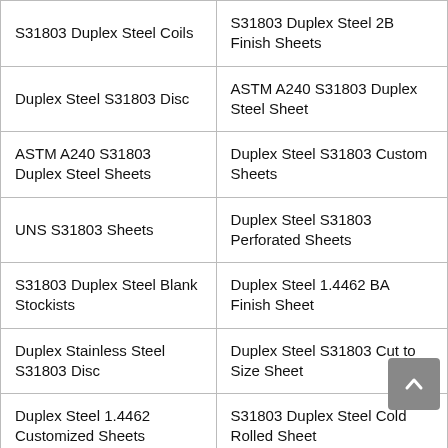| S31803 Duplex Steel Coils | S31803 Duplex Steel 2B Finish Sheets |
| Duplex Steel S31803 Disc | ASTM A240 S31803 Duplex Steel Sheet |
| ASTM A240 S31803 Duplex Steel Sheets | Duplex Steel S31803 Custom Sheets |
| UNS S31803 Sheets | Duplex Steel S31803 Perforated Sheets |
| S31803 Duplex Steel Blank Stockists | Duplex Steel 1.4462 BA Finish Sheet |
| Duplex Stainless Steel S31803 Disc | Duplex Steel S31803 Cut to Size Sheet |
| Duplex Steel 1.4462 Customized Sheets | S31803 Duplex Steel Cold Rolled Sheet |
| UNS S31803 Sheet | ASME SA 240 S31803 Duplex Steel |